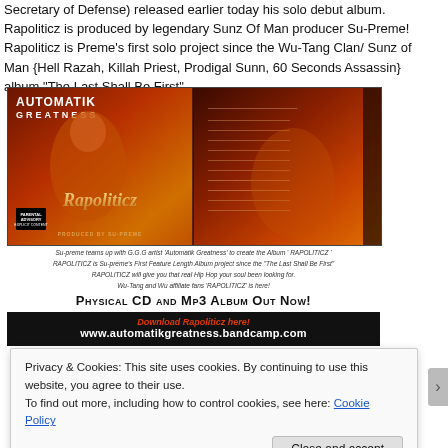Secretary of Defense) released earlier today his solo debut album. Rapoliticz is produced by legendary Sunz Of Man producer Su-Preme! Rapoliticz is Preme's first solo project since the Wu-Tang Clan/ Sunz of Man {Hell Razah, Killah Priest, Prodigal Sunn, 60 Seconds Assassin} album "The Last Shall Be First".
[Figure (photo): Album cover for 'Rapoliticz' by Automatik Greatness, showing front and back cover with dark red and orange tones, tracklist, and rapper imagery]
Su-preme teams up with G.G.G artist 'Automatik Greatness' to create the Album ' RAPOLITICZ '
RAPOLITICZ is Su-preme's First Feature Length Album project since the "The Last Shall Be First"
RAPOLITICZ will give you that real Hip Hop your soul been looking for.
Wu-Tang and Wu affiliate fans 'RAPOLITICZ' is here!
Physical CD and Mp3 Album Out Now!
Download Rapoliticz here!
www.automatikgreatness.bandcamp.com
Privacy & Cookies: This site uses cookies. By continuing to use this website, you agree to their use.
To find out more, including how to control cookies, see here: Cookie Policy
Close and accept